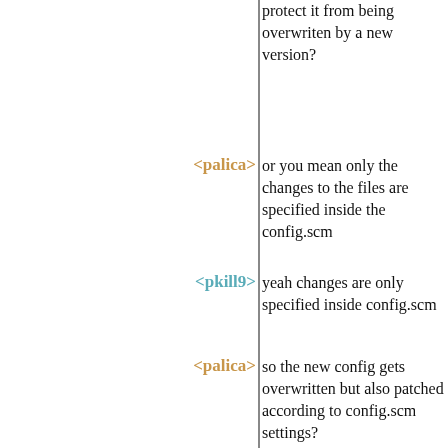protect it from being overwriten by a new version?
<palica> or you mean only the changes to the files are specified inside the config.scm
<pkill9> yeah changes are only specified inside config.scm
<palica> so the new config gets overwritten but also patched according to config.scm settings?
<apteryx> palica: your config is yours to keep versioned